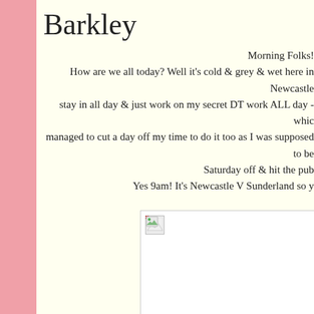Barkley
Morning Folks! How are we all today? Well it's cold & grey & wet here in Newcastle stay in all day & just work on my secret DT work ALL day - whic managed to cut a day off my time to do it too as I was supposed to be Saturday off & hit the pub Yes 9am! It's Newcastle V Sunderland so y
I have a card to share today with the
[Figure (photo): Image placeholder with broken image icon in top-left corner, white background with grey border]